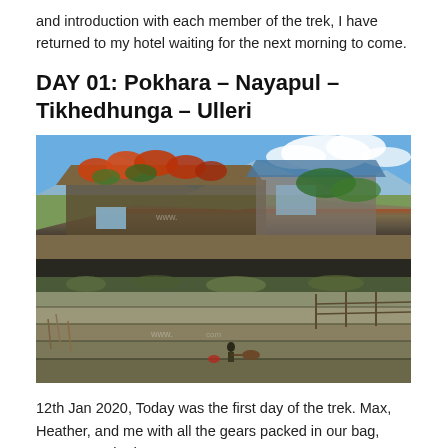and introduction with each member of the trek, I have returned to my hotel waiting for the next morning to come.
DAY 01: Pokhara – Nayapul – Tikhedhunga – Ulleri
[Figure (photo): Two stacked landscape photographs from a trek in Nepal. The top photo shows a traditional Nepali house with a thatched roof covered in orange/red flowering plants, with blue sky and mountains in the background. The bottom photo shows terraced agricultural fields with a person working the land with an ox, in a mountain valley setting.]
12th Jan 2020, Today was the first day of the trek. Max, Heather, and me with all the gears packed in our bag, were so excited to start